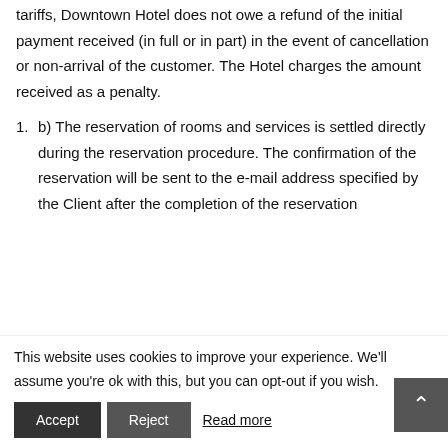tariffs, Downtown Hotel does not owe a refund of the initial payment received (in full or in part) in the event of cancellation or non-arrival of the customer. The Hotel charges the amount received as a penalty.
1. b) The reservation of rooms and services is settled directly during the reservation procedure. The confirmation of the reservation will be sent to the e-mail address specified by the Client after the completion of the reservation
This website uses cookies to improve your experience. We'll assume you're ok with this, but you can opt-out if you wish.